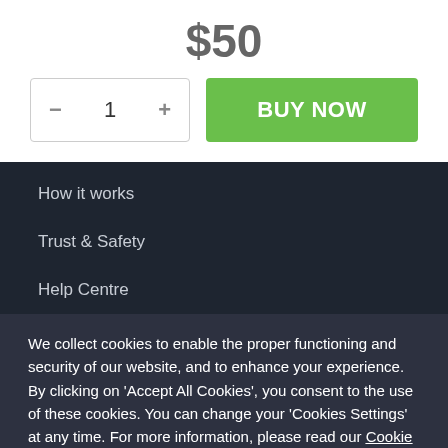$50
— 1 +   BUY NOW
How it works
Trust & Safety
Help Centre
Discover
We collect cookies to enable the proper functioning and security of our website, and to enhance your experience. By clicking on 'Accept All Cookies', you consent to the use of these cookies. You can change your 'Cookies Settings' at any time. For more information, please read our Cookie Policy
Cookie Settings   ACCEPT ALL COOKIES
News